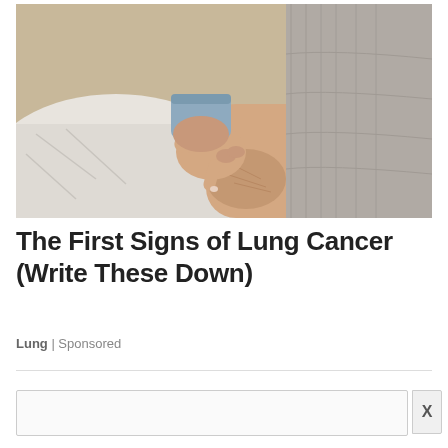[Figure (photo): A medical photo showing a person in a blue shirt pressing a finger against someone's ankle/lower leg area, demonstrating pitting edema or swelling examination. The leg rests on a white surface.]
The First Signs of Lung Cancer (Write These Down)
Lung | Sponsored